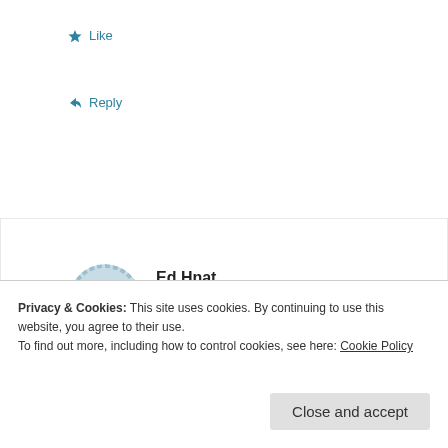Like
Reply
Ed Hnat
June 3, 2012 at 4:47 pm
I have taken 3 excedrin 3 times a day for 30 years. Like everybody else, it is the only thing that works for headaches. Now if there was a problem with it
Privacy & Cookies: This site uses cookies. By continuing to use this website, you agree to their use.
To find out more, including how to control cookies, see here: Cookie Policy
Close and accept